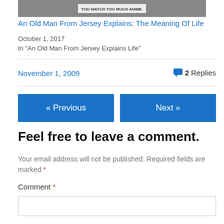[Figure (screenshot): Thumbnail image of a video or blog post with text overlay 'YOU WATCH TOO MUCH ANIME.']
An Old Man From Jersey Explains: The Meaning Of Life
October 1, 2017
In "An Old Man From Jersey Explains Life"
November 1, 2009
2 Replies
« Previous
Next »
Feel free to leave a comment.
Your email address will not be published. Required fields are marked *
Comment *